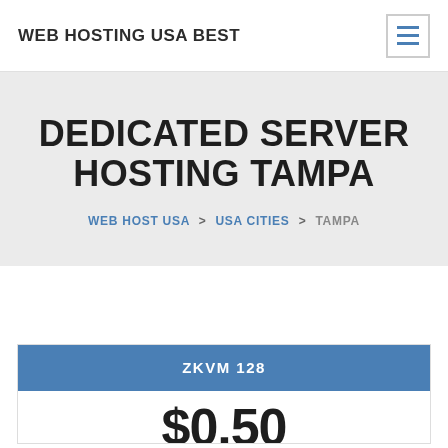WEB HOSTING USA BEST
DEDICATED SERVER HOSTING TAMPA
WEB HOST USA > USA CITIES > TAMPA
ZKVM 128
$0.50